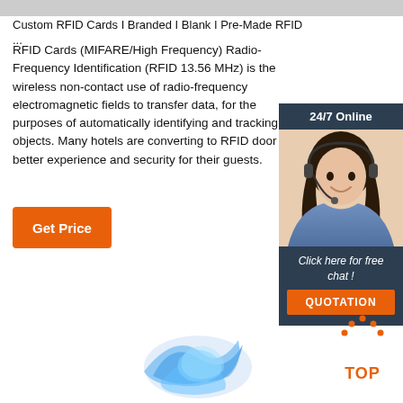Custom RFID Cards I Branded I Blank I Pre-Made RFID ...
RFID Cards (MIFARE/High Frequency) Radio-Frequency Identification (RFID 13.56 MHz) is the wireless non-contact use of radio-frequency electromagnetic fields to transfer data, for the purposes of automatically identifying and tracking tagged objects. Many hotels are converting to RFID door lo a better experience and security for their guests.
[Figure (screenshot): Orange 'Get Price' button]
[Figure (photo): 24/7 Online chat widget with woman wearing headset, 'Click here for free chat!' text, and orange QUOTATION button]
[Figure (illustration): Blue twisted/knotted 3D object at bottom center]
[Figure (logo): Orange dotted arch above 'TOP' text in orange, scroll-to-top button]